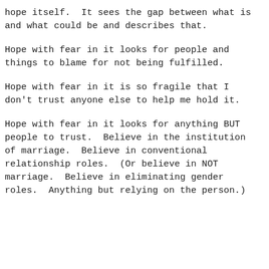hope itself. It sees the gap between what is and what could be and describes that.
Hope with fear in it looks for people and things to blame for not being fulfilled.
Hope with fear in it is so fragile that I don't trust anyone else to help me hold it.
Hope with fear in it looks for anything BUT people to trust. Believe in the institution of marriage. Believe in conventional relationship roles. (Or believe in NOT marriage. Believe in eliminating gender roles. Anything but relying on the person.)